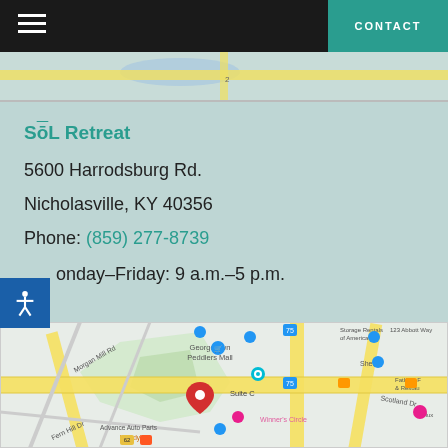CONTACT
[Figure (map): Top portion of a Google Maps view showing roads and map background]
SōL Retreat
5600 Harrodsburg Rd.
Nicholasville, KY 40356
Phone: (859) 277-8739
Monday–Friday: 9 a.m.–5 p.m.
[Figure (map): Google Maps view showing location near Georgetown Peddlers Mall, Winner's Circle, Advance Auto Parts, Wendy's, Shell, FatKats Restaurant. Red pin marker labeled Suite C visible. Roads include Fern Hill Dr, Morgan Mill Rd, Scotland Dr.]